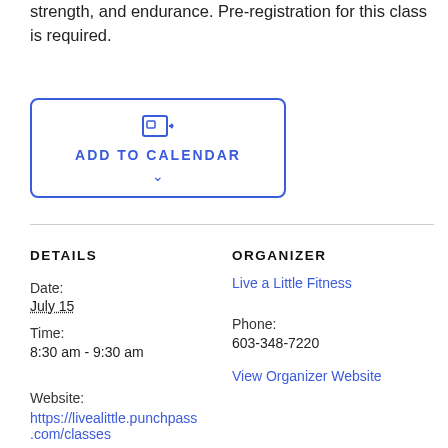strength, and endurance. Pre-registration for this class is required.
[Figure (other): ADD TO CALENDAR button with calendar icon and dropdown caret]
DETAILS
ORGANIZER
Date:
July 15
Live a Little Fitness
Time:
8:30 am - 9:30 am
Phone:
603-348-7220
View Organizer Website
Website:
https://livealittle.punchpass.com/classes